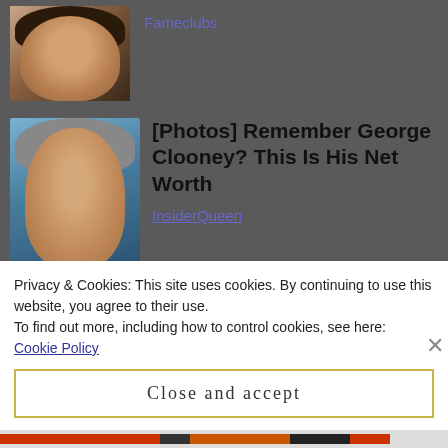[Figure (photo): Cropped photo of a woman's face (partially visible), dark hair]
Fameclubs
[Figure (photo): Photo of George Clooney, smiling, grey hair, aqua/blue background]
[Photos] Remember George Clooney? This Is His Net Worth
InsiderQueen
Posted in Uncategorized
Tagged Ben Vereen, Ben Vereen Awards, BVA, commission, composition, compositions, J Company, J*Company Youth Theatre, musical theatre, musicals, San Diego, theater,
Privacy & Cookies: This site uses cookies. By continuing to use this website, you agree to their use.
To find out more, including how to control cookies, see here:
Cookie Policy
Close and accept